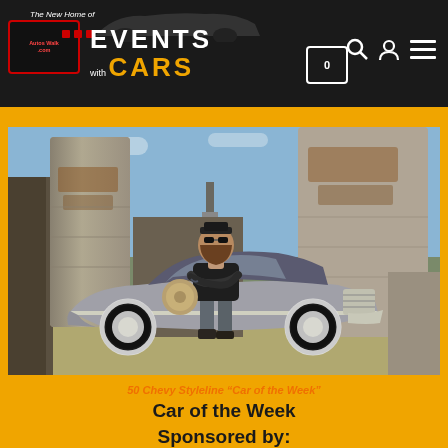The New Home of AutosWalk.com — Events with Cars
[Figure (photo): A bearded man with tattoos standing in front of a matte grey 1950 Chevy Styleline lowrider, with grain silos in the background.]
50 Chevy Styleline "Car of the Week"
Car of the Week
Sponsored by: